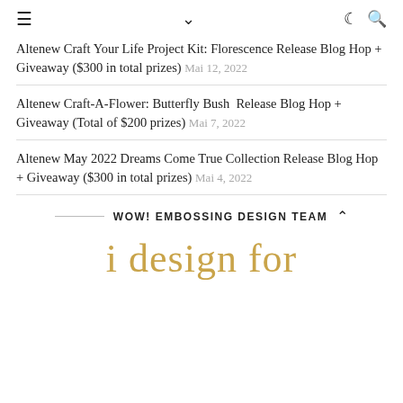≡  ∨  ☾ 🔍
Altenew Craft Your Life Project Kit: Florescence Release Blog Hop + Giveaway ($300 in total prizes)  Mai 12, 2022
Altenew Craft-A-Flower: Butterfly Bush  Release Blog Hop + Giveaway (Total of $200 prizes)  Mai 7, 2022
Altenew May 2022 Dreams Come True Collection Release Blog Hop + Giveaway ($300 in total prizes)  Mai 4, 2022
WOW! EMBOSSING DESIGN TEAM
i design for